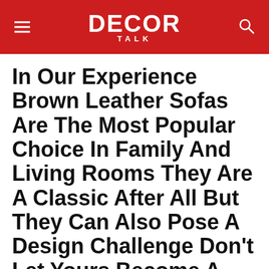DECOR TALK
In Our Experience Brown Leather Sofas Are The Most Popular Choice In Family And Living Rooms They Are A Classic After All But They Can Also Pose A Design Challenge Don't Let Yours Become A Black Hole Avoid The Void With These Five Tips For Decorating Around A Dark Leather Sofa